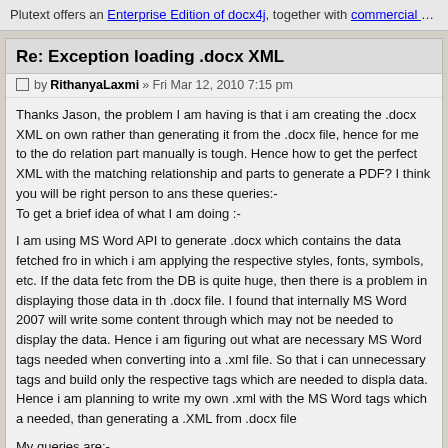Plutext offers an Enterprise Edition of docx4j, together with commercial maintenance/support
Re: Exception loading .docx XML
by RithanyaLaxmi » Fri Mar 12, 2010 7:15 pm
Thanks Jason, the problem I am having is that i am creating the .docx XML on own rather than generating it from the .docx file, hence for me to the do relation part manually is tough. Hence how to get the perfect XML with the matching relationship and parts to generate a PDF? I think you will be right person to ans these queries:- To get a brief idea of what I am doing :-
I am using MS Word API to generate .docx which contains the data fetched from in which i am applying the respective styles, fonts, symbols, etc. If the data feto from the DB is quite huge, then there is a problem in displaying those data in the .docx file. I found that internally MS Word 2007 will write some content through which may not be needed to display the data. Hence i am figuring out what are necessary MS Word tags needed when converting into a .xml file. So that i can unnecessary tags and build only the respective tags which are needed to display data. Hence i am planning to write my own .xml with the MS Word tags which are needed, than generating a .XML from .docx file
My queries are:-
1) Whether it is right that the MS Word will generate some tags which may not needed during the conversion of .docx to document.xml? That makes it heavy? what are the tags , so that i can avoid them when write by own .xml file.